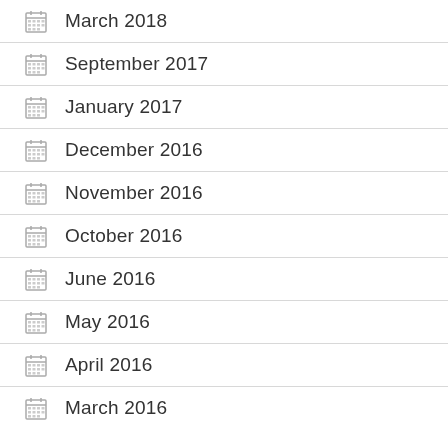March 2018
September 2017
January 2017
December 2016
November 2016
October 2016
June 2016
May 2016
April 2016
March 2016